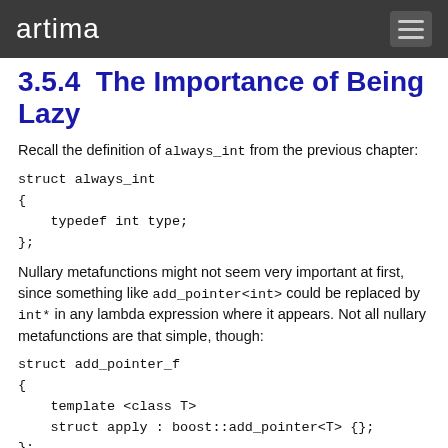artima
3.5.4  The Importance of Being Lazy
Recall the definition of always_int from the previous chapter:
struct always_int
{
    typedef int type;
};
Nullary metafunctions might not seem very important at first, since something like add_pointer<int> could be replaced by int* in any lambda expression where it appears. Not all nullary metafunctions are that simple, though:
struct add_pointer_f
{
    template <class T>
    struct apply : boost::add_pointer<T> {};
};